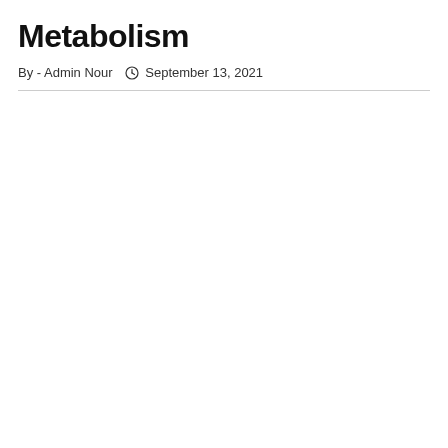Metabolism
By - Admin Nour   ⏰ September 13, 2021